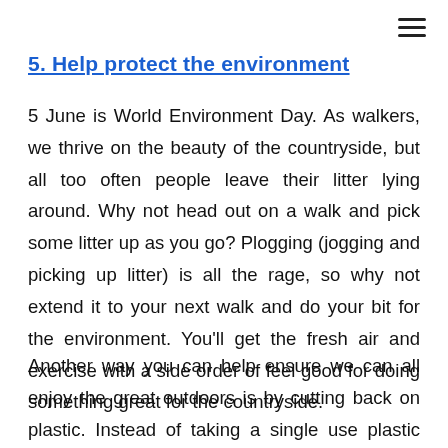5. Help protect the environment
5 June is World Environment Day. As walkers, we thrive on the beauty of the countryside, but all too often people leave their litter lying around. Why not head out on a walk and pick some litter up as you go? Plogging (jogging and picking up litter) is all the rage, so why not extend it to your next walk and do your bit for the environment. You'll get the fresh air and exercise with a side order of feel good for doing something great for the countryside.
Another way you can help ensure we can all enjoy the great outdoors is by cutting back on plastic. Instead of taking a single use plastic water bottle